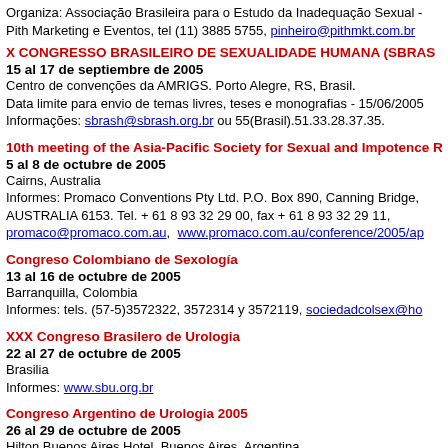Organiza: Associação Brasileira para o Estudo da Inadequação Sexual - Pith Marketing e Eventos, tel (11) 3885 5755, pinheiro@pithmkt.com.br
X CONGRESSO BRASILEIRO DE SEXUALIDADE HUMANA (SBRAS...
15 al 17 de septiembre de 2005
Centro de convenções da AMRIGS. Porto Alegre, RS, Brasil.
Data limite para envio de temas livres, teses e monografias - 15/06/2005
Informações: sbrash@sbrash.org.br ou 55(Brasil).51.33.28.37.35.
10th meeting of the Asia-Pacific Society for Sexual and Impotence R...
5 al 8 de octubre de 2005
Cairns, Australia
Informes: Promaco Conventions Pty Ltd. P.O. Box 890, Canning Bridge, AUSTRALIA 6153. Tel. + 61 8 93 32 29 00, fax + 61 8 93 32 29 11,
promaco@promaco.com.au, www.promaco.com.au/conference/2005/ap
Congreso Colombiano de Sexología
13 al 16 de octubre de 2005
Barranquilla, Colombia
Informes: tels. (57-5)3572322, 3572314 y 3572119, sociedadcolsex@ho...
XXX Congreso Brasilero de Urologia
22 al 27 de octubre de 2005
Brasilia
Informes: www.sbu.org.br
Congreso Argentino de Urologia 2005
26 al 29 de octubre de 2005
Hilton Buenos Aires Hotel. Buenos Aires, Argentina.
Informes: Sociedad Argentina de Urología, Paunero de Oliva... 3500...